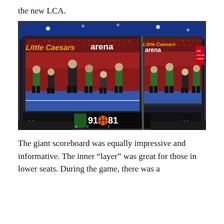the new LCA.
[Figure (photo): Interior photo of Little Caesars Arena showing the giant scoreboard/jumbotron with 'Little Caesars arena' branding displayed, basketball players warming up on the court visible on the screen, and a scoreboard showing 91-81 with Q2 1 at the bottom.]
The giant scoreboard was equally impressive and informative. The inner “layer” was great for those in lower seats. During the game, there was a